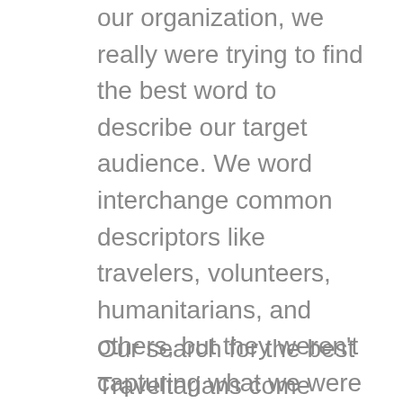our organization, we really were trying to find the best word to describe our target audience. We word interchange common descriptors like travelers, volunteers, humanitarians, and others, but they weren't capturing what we were trying to convey with this new mode of service support.
Our search for the best Traveltarians come through social engagements, referrals, and local supporters. In order to build a team that will function well abroad, we set the groundwork well in advance of taking off. This includes team